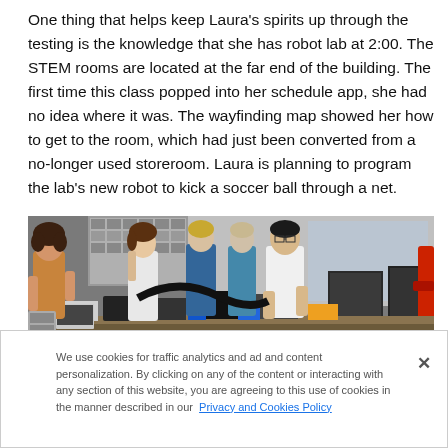One thing that helps keep Laura's spirits up through the testing is the knowledge that she has robot lab at 2:00. The STEM rooms are located at the far end of the building. The first time this class popped into her schedule app, she had no idea where it was. The wayfinding map showed her how to get to the room, which had just been converted from a no-longer used storeroom. Laura is planning to program the lab's new robot to kick a soccer ball through a net.
[Figure (photo): A group of students and instructors working together around a lab table covered with robotics equipment, electronic components, 3D printers, and various tools in a STEM lab setting.]
We use cookies for traffic analytics and ad and content personalization. By clicking on any of the content or interacting with any section of this website, you are agreeing to this use of cookies in the manner described in our Privacy and Cookies Policy